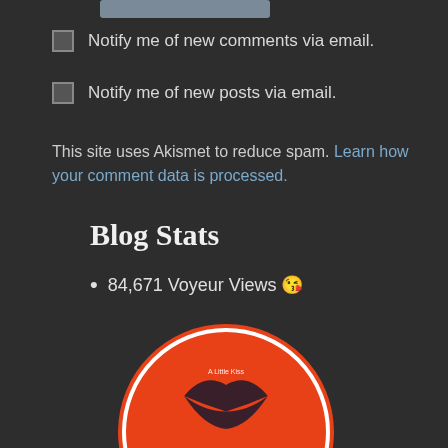[Figure (other): Gray button/bar at top of page]
Notify me of new comments via email.
Notify me of new posts via email.
This site uses Akismet to reduce spam. Learn how your comment data is processed.
Blog Stats
84,671 Voyeur Views 😘
[Figure (logo): Red circular badge reading 'Top Sex Blogger 2021' with lips graphic]